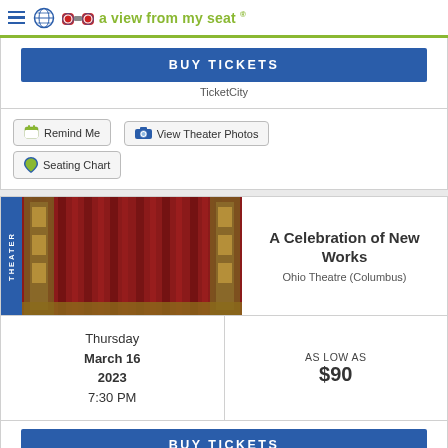a view from my seat
BUY TICKETS
TicketCity
Remind Me
View Theater Photos
Seating Chart
[Figure (photo): Interior photo of Ohio Theatre Columbus showing ornate red curtain stage and decorative columns]
A Celebration of New Works
Ohio Theatre (Columbus)
Thursday March 16 2023 7:30 PM
AS LOW AS $90
BUY TICKETS